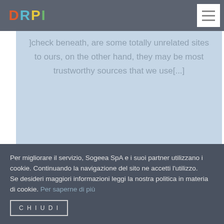DRPI
]check beneath, are some totally unrelated sites to ours, on the other hand, they may be most trustworthy sources that we use[...]
Reply
Per migliorare il servizio, Sogeea SpA e i suoi partner utilizzano i cookie. Continuando la navigazione del sito ne accetti l'utilizzo.
Se desideri maggiori informazioni leggi la nostra politica in materia di cookie. Per saperne di più
CHIUDI